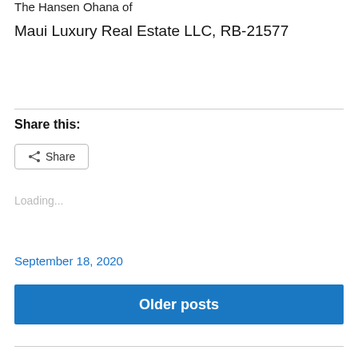The Hansen Ohana of
Maui Luxury Real Estate LLC, RB-21577
Share this:
Share
Loading...
September 18, 2020
Older posts